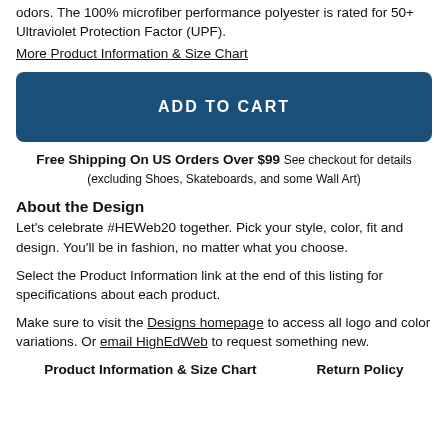odors. The 100% microfiber performance polyester is rated for 50+ Ultraviolet Protection Factor (UPF).
More Product Information & Size Chart
ADD TO CART
Free Shipping On US Orders Over $99 See checkout for details (excluding Shoes, Skateboards, and some Wall Art)
About the Design
Let's celebrate #HEWeb20 together. Pick your style, color, fit and design. You'll be in fashion, no matter what you choose.
Select the Product Information link at the end of this listing for specifications about each product.
Make sure to visit the Designs homepage to access all logo and color variations. Or email HighEdWeb to request something new.
Product Information & Size Chart    Return Policy